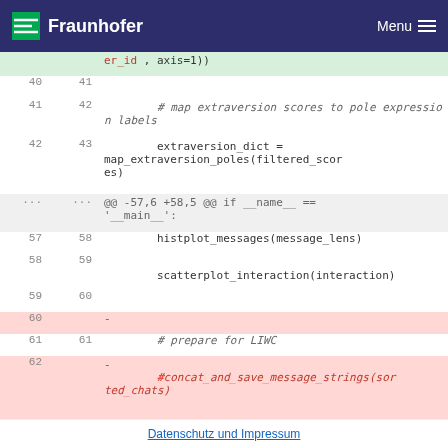Fraunhofer  Menu
[Figure (screenshot): Code diff view showing Python code changes including map_extraversion_poles, histplot_messages, scatterplot_interaction, and concat_and_save_message_strings functions with line numbers and diff highlighting (red for deletions, green for additions).]
Datenschutz und Impressum